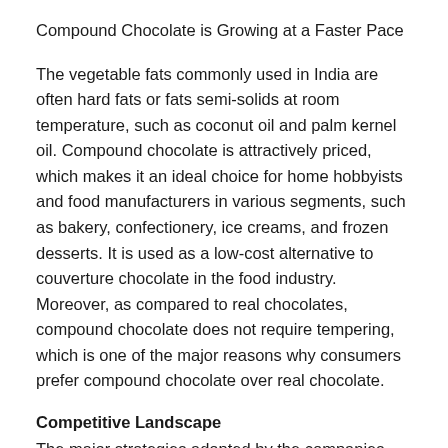Compound Chocolate is Growing at a Faster Pace
The vegetable fats commonly used in India are often hard fats or fats semi-solids at room temperature, such as coconut oil and palm kernel oil. Compound chocolate is attractively priced, which makes it an ideal choice for home hobbyists and food manufacturers in various segments, such as bakery, confectionery, ice creams, and frozen desserts. It is used as a low-cost alternative to couverture chocolate in the food industry. Moreover, as compared to real chocolates, compound chocolate does not require tempering, which is one of the major reasons why consumers prefer compound chocolate over real chocolate.
Competitive Landscape
The major strategies adopted by the companies operating in the Indian bakery ingredients market are product innovation and expansions. The players are focusing on introducing new products in the market to cater to the interests of the consumers, such as